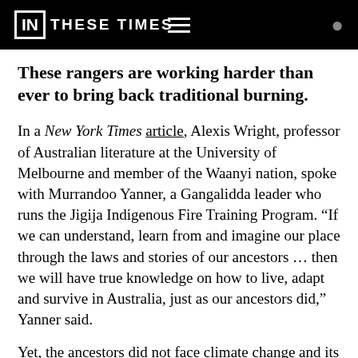IN THESE TIMES
These rangers are working harder than ever to bring back traditional burning.
In a New York Times article, Alexis Wright, professor of Australian literature at the University of Melbourne and member of the Waanyi nation, spoke with Murrandoo Yanner, a Gangalidda leader who runs the Jigija Indigenous Fire Training Program. “If we can understand, learn from and imagine our place through the laws and stories of our ancestors … then we will have true knowledge on how to live, adapt and survive in Australia, just as our ancestors did,” Yanner said.
Yet, the ancestors did not face climate change and its